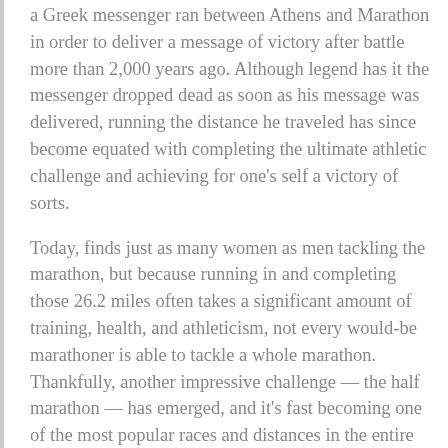a Greek messenger ran between Athens and Marathon in order to deliver a message of victory after battle more than 2,000 years ago. Although legend has it the messenger dropped dead as soon as his message was delivered, running the distance he traveled has since become equated with completing the ultimate athletic challenge and achieving for one's self a victory of sorts.
Today, finds just as many women as men tackling the marathon, but because running in and completing those 26.2 miles often takes a significant amount of training, health, and athleticism, not every would-be marathoner is able to tackle a whole marathon. Thankfully, another impressive challenge — the half marathon — has emerged, and it's fast becoming one of the most popular races and distances in the entire world.
Well, it turns out that the half marathon has found a happy home in Niagara Falls, which plays host to a spectacular half marathon every June. People from all over the world take advantage of its prime location to not only participate in the race, but to also enjoy a much-needed vacation as well. The route follows a beautiful and inspirational path that lets runners and walkers pass by the waterfalls — not